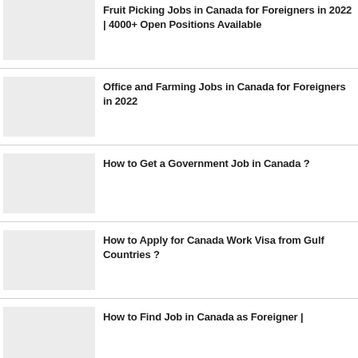Fruit Picking Jobs in Canada for Foreigners in 2022 | 4000+ Open Positions Available
Office and Farming Jobs in Canada for Foreigners in 2022
How to Get a Government Job in Canada ?
How to Apply for Canada Work Visa from Gulf Countries ?
How to Find Job in Canada as Foreigner |